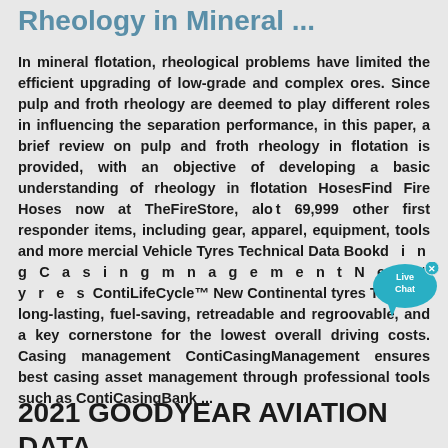Rheology in Mineral ...
In mineral flotation, rheological problems have limited the efficient upgrading of low-grade and complex ores. Since pulp and froth rheology are deemed to play different roles in influencing the separation performance, in this paper, a brief review on pulp and froth rheology in flotation is provided, with an objective of developing a basic understanding of rheology in flotation HosesFind Fire Hoses now at TheFireStore, along with 69,999 other first responder items, including gear, apparel, equipment, tools and more mercial Vehicle Tyres Technical Data Bookd i n g C a s i n g m n a g e m e n t N e w t y r e s ContiLifeCycle™ New Continental tyres They are long-lasting, fuel-saving, retreadable and regroovable, and a key cornerstone for the lowest overall driving costs. Casing management ContiCasingManagement ensures best casing asset management through professional tools such as ContiCasingBank ...
2021 GOODYEAR AVIATION DATA